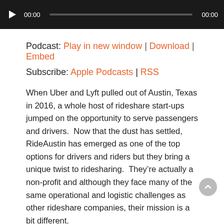[Figure (screenshot): Audio player with play button, time display 00:00, progress bar, and end time 00:00 on dark background]
Podcast: Play in new window | Download | Embed
Subscribe: Apple Podcasts | RSS
When Uber and Lyft pulled out of Austin, Texas in 2016, a whole host of rideshare start-ups jumped on the opportunity to serve passengers and drivers.  Now that the dust has settled, RideAustin has emerged as one of the top options for drivers and riders but they bring a unique twist to ridesharing.  They're actually a non-profit and although they face many of the same operational and logistic challenges as other rideshare companies, their mission is a bit different.
In today's episode, I'll be chatting with RideAustin's CEO